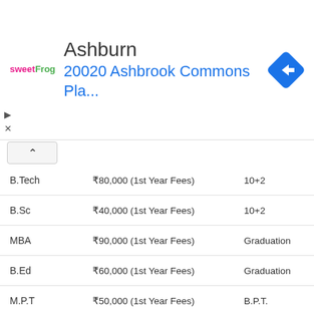[Figure (screenshot): Ad banner showing sweetFrog logo, location 'Ashburn', address '20020 Ashbrook Commons Pla...', and a blue navigation diamond icon]
| Course | Fees | Eligibility |
| --- | --- | --- |
| B.Tech | ₹80,000 (1st Year Fees) | 10+2 |
| B.Sc | ₹40,000 (1st Year Fees) | 10+2 |
| MBA | ₹90,000 (1st Year Fees) | Graduation |
| B.Ed | ₹60,000 (1st Year Fees) | Graduation |
| M.P.T | ₹50,000 (1st Year Fees) | B.P.T. |
| B.P.T | ₹95,000 (1st Year Fees) | 10+2 |
| B.Pharma | ₹2 Lakhs (1st Year Fees) | 10+2 |
| B.Pharma | ₹2 Lakhs (1st Year Fees) | 10+2 |